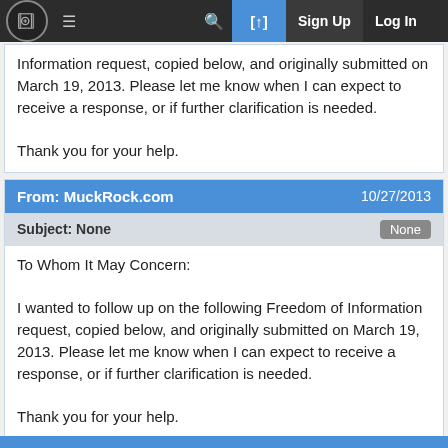MuckRock.com — Sign Up | Log In
Information request, copied below, and originally submitted on March 19, 2013. Please let me know when I can expect to receive a response, or if further clarification is needed.

Thank you for your help.
From: MuckRock.com   10/27/2013
Subject: None
To Whom It May Concern:

I wanted to follow up on the following Freedom of Information request, copied below, and originally submitted on March 19, 2013. Please let me know when I can expect to receive a response, or if further clarification is needed.

Thank you for your help.